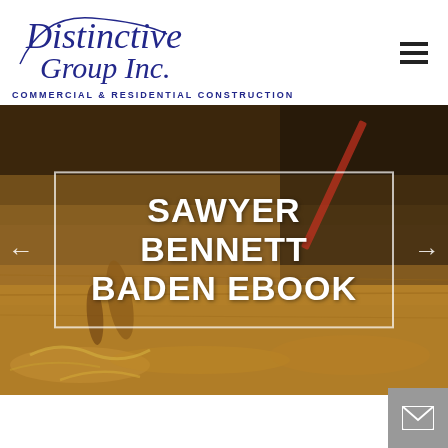[Figure (logo): Distinctive Group Inc. logo with cursive blue text and subtitle 'Commercial & Residential Construction']
[Figure (photo): Woodworker's hands using woodworking tools on a wooden surface, with wood shavings visible. Overlay text box reads 'SAWYER BENNETT BADEN EBOOK' in large white bold letters.]
SAWYER BENNETT BADEN EBOOK